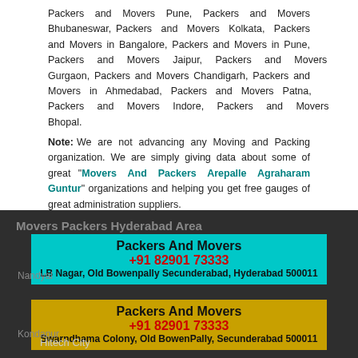Packers and Movers Pune, Packers and Movers Bhubaneswar, Packers and Movers Kolkata, Packers and Movers in Bangalore, Packers and Movers in Pune, Packers and Movers Jaipur, Packers and Movers Gurgaon, Packers and Movers Chandigarh, Packers and Movers in Ahmedabad, Packers and Movers Patna, Packers and Movers Indore, Packers and Movers Bhopal.
Note: We are not advancing any Moving and Packing organization. We are simply giving data about some of great "Movers And Packers Arepalle Agraharam Guntur" organizations and helping you get free gauges of great administration suppliers.
Movers Packers Hyderabad Area
Packers And Movers +91 82901 73333 LB Nagar, Old Bowenpally Secunderabad, Hyderabad 500011
Nandyal
Packers And Movers +91 82901 73333 Swarndhama Colony, Old BowenPally, Secunderabad 500011
Kondapur
Hitech City